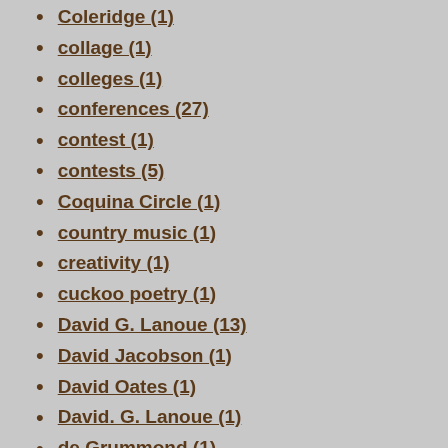Coleridge (1)
collage (1)
colleges (1)
conferences (27)
contest (1)
contests (5)
Coquina Circle (1)
country music (1)
creativity (1)
cuckoo poetry (1)
David G. Lanoue (13)
David Jacobson (1)
David Oates (1)
David. G. Lanoue (1)
de Grummond (1)
Dear Agnes (1)